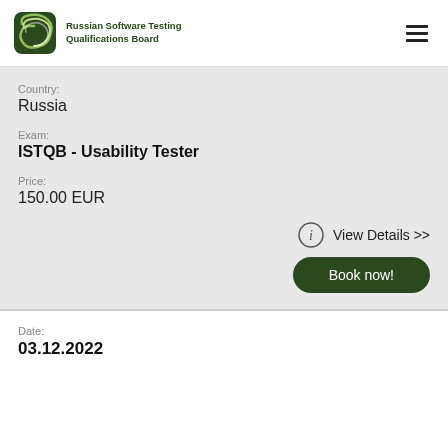Russian Software Testing Qualifications Board
Country:
Russia
Exam:
ISTQB - Usability Tester
Price:
150.00 EUR
View Details >>
Book now!
Date:
03.12.2022